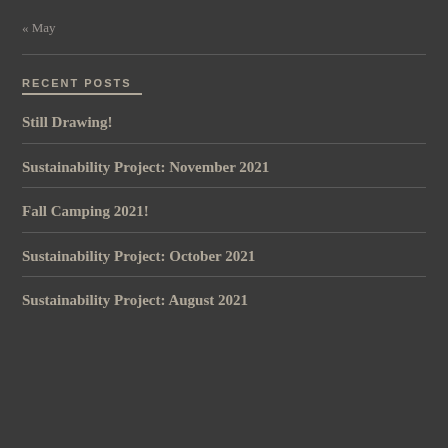« May
RECENT POSTS
Still Drawing!
Sustainability Project: November 2021
Fall Camping 2021!
Sustainability Project: October 2021
Sustainability Project: August 2021